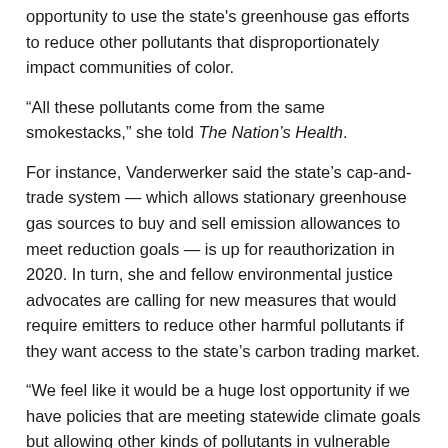opportunity to use the state's greenhouse gas efforts to reduce other pollutants that disproportionately impact communities of color.
“All these pollutants come from the same smokestacks,” she told The Nation’s Health.
For instance, Vanderwerker said the state’s cap-and-trade system — which allows stationary greenhouse gas sources to buy and sell emission allowances to meet reduction goals — is up for reauthorization in 2020. In turn, she and fellow environmental justice advocates are calling for new measures that would require emitters to reduce other harmful pollutants if they want access to the state’s carbon trading market.
“We feel like it would be a huge lost opportunity if we have policies that are meeting statewide climate goals but allowing other kinds of pollutants in vulnerable communities to get worse,” Vanderwerker said.